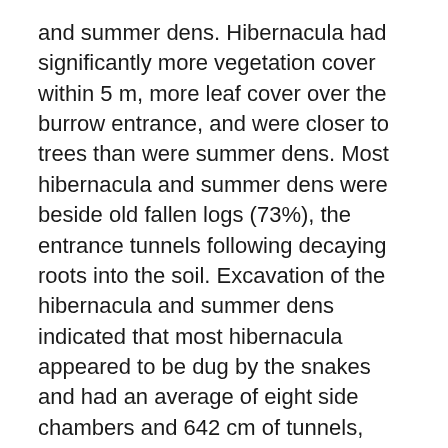and summer dens. Hibernacula had significantly more vegetation cover within 5 m, more leaf cover over the burrow entrance, and were closer to trees than were summer dens. Most hibernacula and summer dens were beside old fallen logs (73%), the entrance tunnels following decaying roots into the soil. Excavation of the hibernacula and summer dens indicated that most hibernacula appeared to be dug by the snakes and had an average of eight side chambers and 642 cm of tunnels, compared to less than one side chamber and 122 cm of tunnels for summer dens. Except for hatchlings, most snakes in hibernacula were located in individual chambers off the main tunnel; all snakes were at depths of 50-111 cm (X̄ = 79 cm). Pine snakes may select optimum hibernation sites which reduce winter mortality.